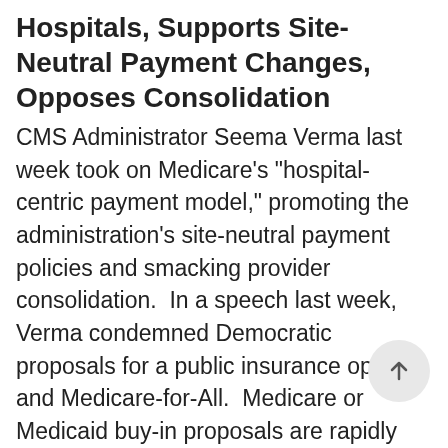Hospitals, Supports Site-Neutral Payment Changes, Opposes Consolidation
CMS Administrator Seema Verma last week took on Medicare's “hospital-centric payment model,” promoting the administration’s site-neutral payment policies and smacking provider consolidation.  In a speech last week, Verma condemned Democratic proposals for a public insurance option and Medicare-for-All.  Medicare or Medicaid buy-in proposals are rapidly gaining momentum among leading Democratic presidential candidates and lawmakers as the next step to cover uninsured Americans or offer cheaper plans. Last year the CMS finalized a